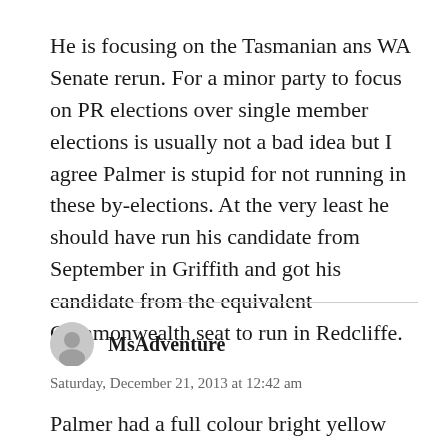He is focusing on the Tasmanian ans WA Senate rerun. For a minor party to focus on PR elections over single member elections is usually not a bad idea but I agree Palmer is stupid for not running in these by-elections. At the very least he should have run his candidate from September in Griffith and got his candidate from the equivalent Commonwealth seat to run in Redcliffe.
MsAdventure
Saturday, December 21, 2013 at 12:42 am
Palmer had a full colour bright yellow cover and